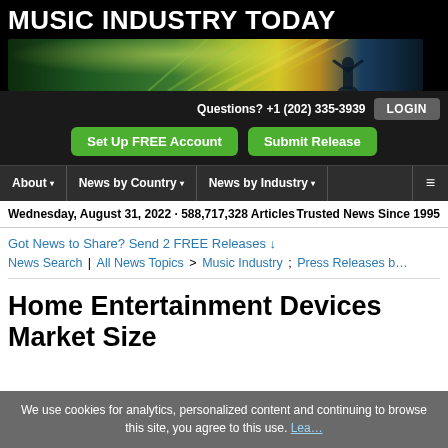MUSIC INDUSTRY TODAY
[Figure (photo): Banner image with green and yellow light effects and silhouette of a performer]
Questions? +1 (202) 335-3939
LOGIN
Set Up FREE Account
Submit Release
About ▾  News by Country ▾  News by Industry ▾
Wednesday, August 31, 2022 · 588,717,328 Articles
Trusted News Since 1995
Got News to Share? Send 2 FREE Releases ↓
News Search | All News Topics > Music Industry ; Press Releases b…
Home Entertainment Devices Market Size
We use cookies for analytics, personalized content and continuing to browse this site, you agree to this use. Lea…